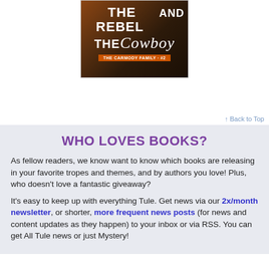[Figure (illustration): Book cover for 'The Rebel and The Cowboy' - The Carmody Family series, showing title text over a dark background with an orange/brown series badge]
↑ Back to Top
WHO LOVES BOOKS?
As fellow readers, we know want to know which books are releasing in your favorite tropes and themes, and by authors you love! Plus, who doesn't love a fantastic giveaway?
It's easy to keep up with everything Tule. Get news via our 2x/month newsletter, or shorter, more frequent news posts (for news and content updates as they happen) to your inbox or via RSS. You can get All Tule news or just Mystery!